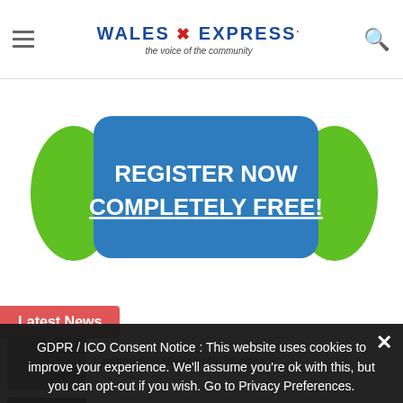Wales Express - the voice of the community
[Figure (illustration): Register Now Completely Free! banner ad with blue rounded button and green arrows on each side]
Latest News
Lamborghini Huracan for Horizon 5
By [author] | 1 July 2022
GDPR / ICO Consent Notice : This website uses cookies to improve your experience. We'll assume you're ok with this, but you can opt-out if you wish. Go to Privacy Preferences.
Privacy Preferences
I Agree